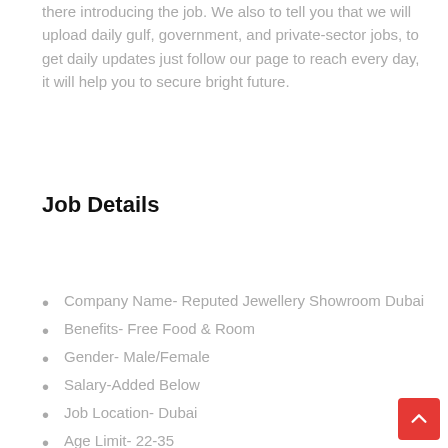there introducing the job. We also to tell you that we will upload daily gulf, government, and private-sector jobs, to get daily updates just follow our page to reach every day, it will help you to secure bright future.
Job Details
Company Name- Reputed Jewellery Showroom Dubai
Benefits-  Free Food & Room
Gender- Male/Female
Salary-Added Below
Job Location- Dubai
Age Limit- 22-35